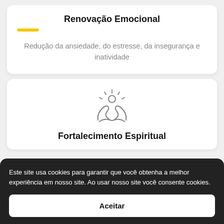Renovação Emocional
[Figure (illustration): Yellow horizontal bar accent/divider]
Redução da ansiedade, do estresse, da insegurança e inatividade
[Figure (illustration): Icon of two hands raised with a sun above them, representing spiritual strength]
Fortalecimento Espiritual
Este site usa cookies para garantir que você obtenha a melhor experiência em nosso site. Ao usar nosso site você consente cookies.
Aceitar